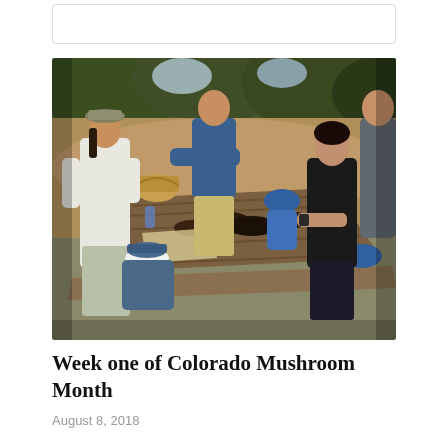[Figure (photo): Several people gathered around an outdoor picnic table examining mushrooms in a forested setting. A woman in a white long-sleeve shirt and hat stands on the left. A man in a blue shirt stands with arms crossed in the background. An older person in a blue hat sits at the near end of the table. A woman in a black tank top examines mushrooms on the right side of the table. Various mushrooms and containers are spread across the wooden picnic table. Trees and a dirt path are visible in the background.]
Week one of Colorado Mushroom Month
August 8, 2018